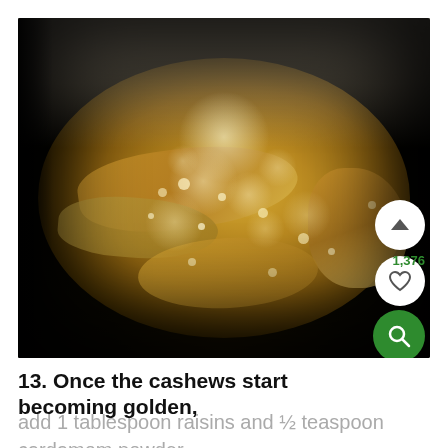[Figure (photo): Close-up photograph of cashews frying in bubbling hot oil inside a dark non-stick pan. The oil is vigorously bubbling with the cashews turning golden brown. The image is shot from above at a slight angle.]
13. Once the cashews start becoming golden,
add 1 tablespoon raisins and ½ teaspoon cardamom powder